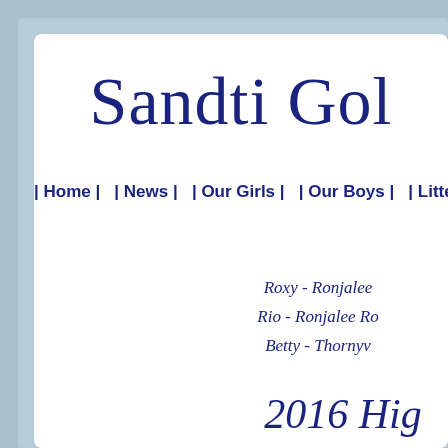Sandti Gol
| Home | | News | | Our Girls | | Our Boys | | Litters |
Roxy - Ronjalee
Rio - Ronjalee Ro
Betty - Thornyv
2016 Hig